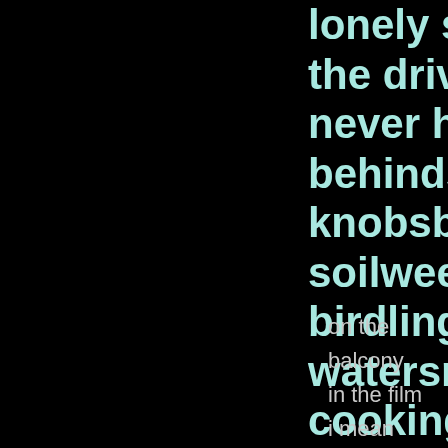lonely songs it emittedand the car the driveand the letters yet to be d never heardexuse me did you leav behindsplinters of it allbits and blo knobsblows and showsempty bot soilweedsantscig buttsbits of pape birdlinga rocka stonea blade of gra watersmell of rainsmell of lightnin cookingdrizzlestop
on the balcony
in the film
i mean
that film they made
they used your song
remember
and on the balcony it was summer